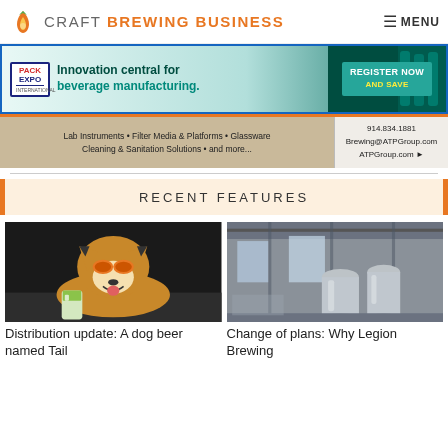CRAFT BREWING BUSINESS  MENU
[Figure (infographic): Pack Expo International advertisement: 'Innovation central for beverage manufacturing. REGISTER NOW AND SAVE']
[Figure (infographic): ATP Group advertisement: 'Lab Instruments • Filter Media & Platforms • Glassware Cleaning & Sanitation Solutions • and more... 914.834.1881 Brewing@ATPGroup.com ATPGroup.com']
RECENT FEATURES
[Figure (photo): A corgi dog wearing orange sunglasses sitting next to a craft beer can]
[Figure (photo): Interior of a brewery with stainless steel fermentation tanks and industrial ceiling]
Distribution update: A dog beer named Tail
Change of plans: Why Legion Brewing